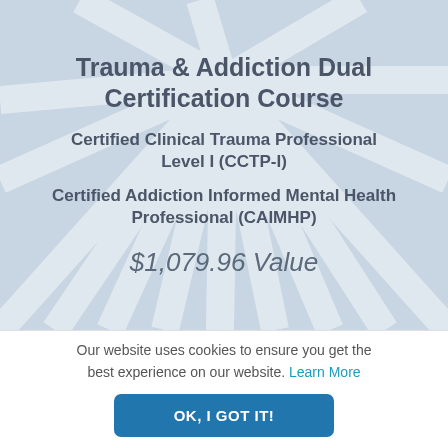[Figure (illustration): Light blue-grey radial burst / starburst background filling the top portion of the page]
Trauma & Addiction Dual Certification Course
Certified Clinical Trauma Professional Level I (CCTP-I)
Certified Addiction Informed Mental Health Professional (CAIMHP)
$1,079.96 Value
Our website uses cookies to ensure you get the best experience on our website. Learn More
OK, I GOT IT!